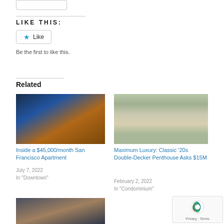[Figure (other): Small button/widget at top]
LIKE THIS:
[Figure (other): Like button with star icon]
Be the first to like this.
Related
[Figure (photo): Photo of a modern glass skyscraper in San Francisco at dusk]
Inside a $45,000/month San Francisco Apartment
July 7, 2022
In "Downtown"
[Figure (photo): Photo of a classic 1920s luxury building facade with arched entrance and trees]
Maximum Luxury: Classic '20s Double-Decker Penthouse Asks $15M
February 2, 2022
In "Condominium"
[Figure (photo): Photo of a modern building exterior with large windows]
[Figure (other): reCAPTCHA widget showing Privacy and Terms links]